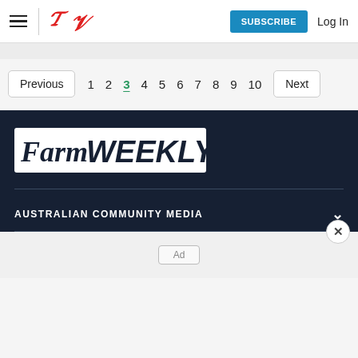Farm Weekly – Subscribe | Log In
Previous 1 2 3 4 5 6 7 8 9 10 Next
[Figure (logo): Farm Weekly logo – white italic text on dark navy background]
AUSTRALIAN COMMUNITY MEDIA
Ad